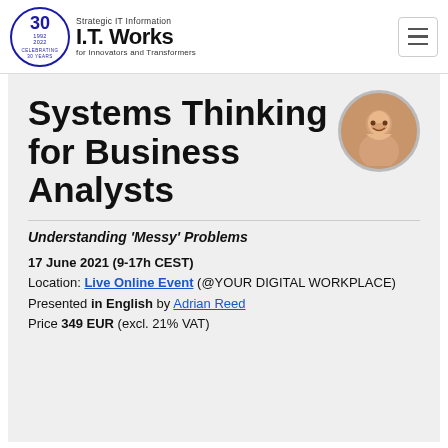Strategic IT Information I.T. Works for Innovators and Transformers
Systems Thinking for Business Analysts
[Figure (photo): Headshot of a smiling man, circular crop, used as speaker photo]
Understanding 'Messy' Problems
17 June 2021 (9-17h CEST)
Location: Live Online Event (@YOUR DIGITAL WORKPLACE)
Presented in English by Adrian Reed
Price 349 EUR (excl. 21% VAT)